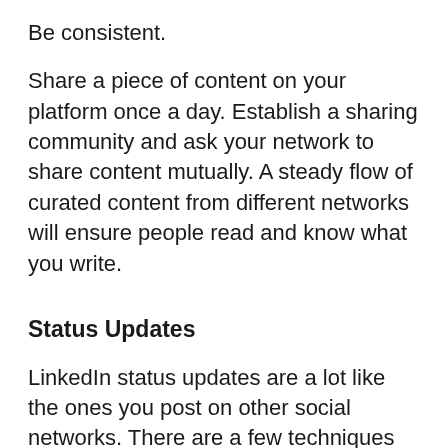Be consistent.
Share a piece of content on your platform once a day. Establish a sharing community and ask your network to share content mutually. A steady flow of curated content from different networks will ensure people read and know what you write.
Status Updates
LinkedIn status updates are a lot like the ones you post on other social networks. There are a few techniques and strategies to generate better leads with status updates: